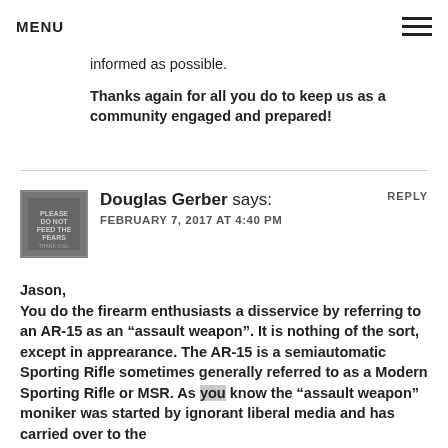MENU
informed as possible.
Thanks again for all you do to keep us as a community engaged and prepared!
Douglas Gerber says:
FEBRUARY 7, 2017 AT 4:40 PM
Jason,
You do the firearm enthusiasts a disservice by referring to an AR-15 as an “assault weapon”. It is nothing of the sort, except in apprearance. The AR-15 is a semiautomatic Sporting Rifle sometimes generally referred to as a Modern Sporting Rifle or MSR. As you know the “assault weapon” moniker was started by ignorant liberal media and has carried over to the